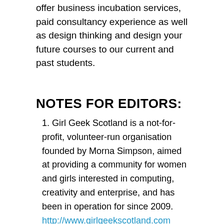offer business incubation services, paid consultancy experience as well as design thinking and design your future courses to our current and past students.
NOTES FOR EDITORS:
1. Girl Geek Scotland is a not-for-profit, volunteer-run organisation founded by Morna Simpson, aimed at providing a community for women and girls interested in computing, creativity and enterprise, and has been in operation for since 2009. http://www.girlgeekscotland.com
2. GGS Parent Organisations: Edinburgh Napier University http://www.napier.ac.uk and Bright Red Triangle https://brightredtriangle.wordpress.com
3. Event Partners: ScotlandJS